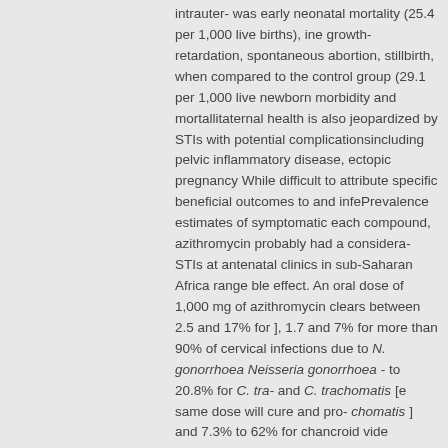intrauter- was early neonatal mortality (25.4 per 1,000 live births), ine growth-retardation, spontaneous abortion, stillbirth, when compared to the control group (29.1 per 1,000 live newborn morbidity and mortallitaternal health is also jeopardized by STIs with potential complicationsincluding pelvic inflammatory disease, ectopic pregnancy While difficult to attribute specific beneficial outcomes to and infePrevalence estimates of symptomatic each compound, azithromycin probably had a considera- STIs at antenatal clinics in sub-Saharan Africa range ble effect. An oral dose of 1,000 mg of azithromycin clears between 2.5 and 17% for ], 1.7 and 7% for more than 90% of cervical infections due to N. gonorrhoea Neisseria gonorrhoea - to 20.8% for C. tra- and C. trachomatis [e same dose will cure and pro- chomatis ] and 7.3% to 62% for chancroid vide chemoprophylaxis against chancroid and syphilis. Studies in Uganda and Tanzania ] have shownthat azithromycin, 1,000 mg and 2,000 mg respectively, is In resource-limited settings, testing women for STIs